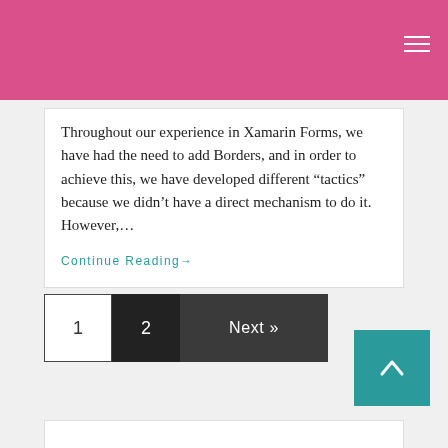Throughout our experience in Xamarin Forms, we have had the need to add Borders, and in order to achieve this, we have developed different “tactics” because we didn’t have a direct mechanism to do it. However,…
Continue Reading→
1  2  Next »